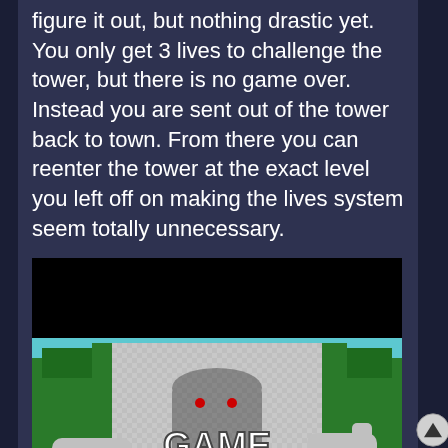figure it out, but nothing drastic yet. You only get 3 lives to challenge the tower, but there is no game over. Instead you are sent out of the tower back to town. From there you can reenter the tower at the exact level you left off on making the lives system seem totally unnecessary.
[Figure (screenshot): A video game screenshot showing a 'GAME OVER' screen with a stone/robotic giant figure and trees in background]